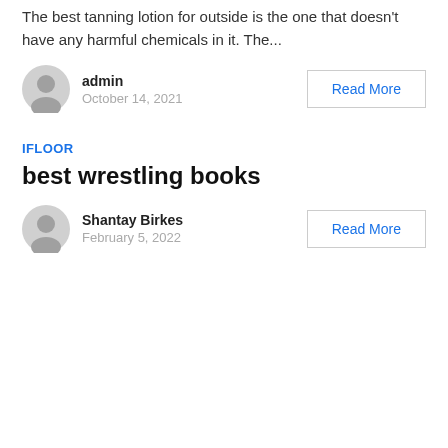The best tanning lotion for outside is the one that doesn't have any harmful chemicals in it. The...
admin
October 14, 2021
Read More
IFLOOR
best wrestling books
Shantay Birkes
February 5, 2022
Read More